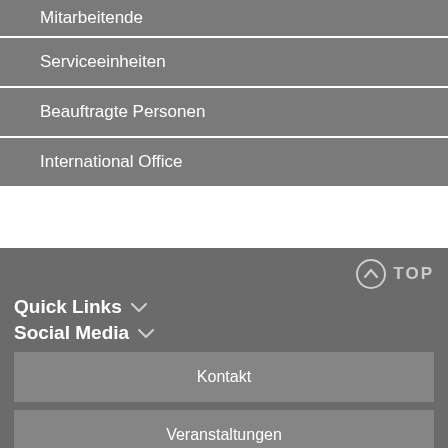Mitarbeitende
Serviceeinheiten
Beauftragte Personen
International Office
TOP
Quick Links
Social Media
Kontakt
Veranstaltungen